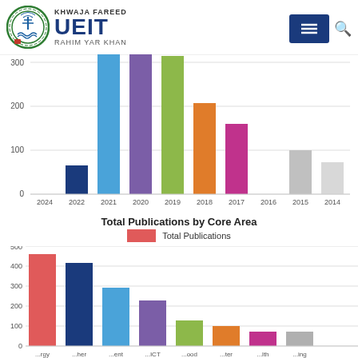[Figure (logo): Khwaja Fareed UEIT Rahim Yar Khan university logo with navigation icons]
[Figure (bar-chart): Publications by Year (partial top view)]
Total Publications by Core Area
[Figure (bar-chart): Total Publications by Core Area]